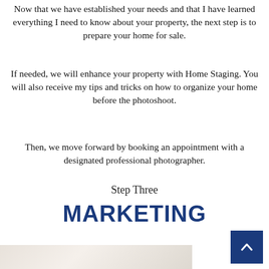Now that we have established your needs and that I have learned everything I need to know about your property, the next step is to prepare your home for sale.
If needed, we will enhance your property with Home Staging. You will also receive my tips and tricks on how to organize your home before the photoshoot.
Then, we move forward by booking an appointment with a designated professional photographer.
Step Three
MARKETING
[Figure (photo): Partial view of a room interior, light-colored background, appears to be a home staging or interior photo.]